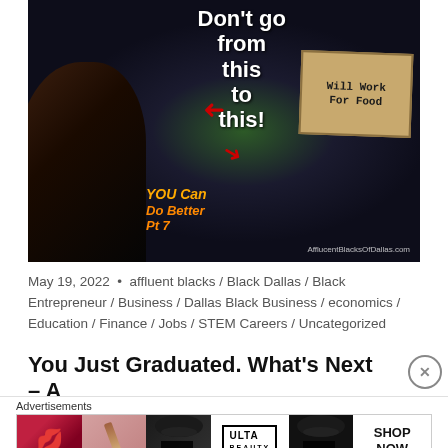[Figure (photo): Promotional image for 'You Can Do Better Pt 7' from AfflucentBlacksOfDallas.com. Shows a man in a graduation gown on the left with a diploma and heart, arrows pointing left and right, text reading 'Don't go from this to this!', a person holding a 'WILL WORK FOR FOOD' cardboard sign on the right, and text 'YOU Can Do Better Pt 7' in orange/yellow. A large face of a man in a suit is in the foreground lower left.]
May 19, 2022  •  affluent blacks / Black Dallas / Black Entrepreneur / Business / Dallas Black Business / economics / Education / Finance / Jobs / STEM Careers / Uncategorized
You Just Graduated. What's Next – A
[Figure (photo): Ulta Beauty advertisement banner showing close-up makeup images (lips, brush, eyes) with the Ulta logo and 'SHOP NOW' text.]